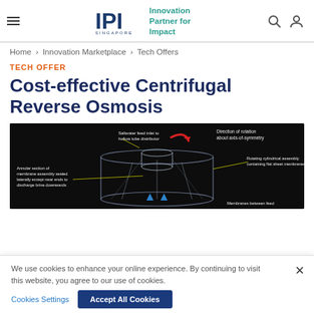IPI Singapore — Innovation Partner for Impact
Home > Innovation Marketplace > Tech Offers
TECH OFFER
Cost-effective Centrifugal Reverse Osmosis
[Figure (engineering-diagram): Dark-background schematic diagram of a centrifugal reverse osmosis device showing: Saltwater feed inlet to hollow tube distributor, Direction of rotation about axis-of-symmetry (indicated by red arrow), Rotating cylindrical assembly containing flat sheet membranes, Annular section of membrane assembly sealed laterally except near ends to discharge brine downwards, Membranes between feed (partially visible at bottom right).]
We use cookies to enhance your online experience. By continuing to visit this website, you agree to our use of cookies.
Cookies Settings
Accept All Cookies